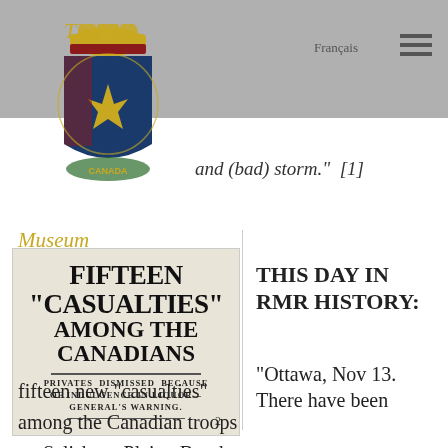[Figure (logo): Royal Military Regiment Museum crest/logo with crown, maple leaf, and shield, with 'The' in cursive gold above]
and (bad) storm." [1]
[Figure (screenshot): Newspaper headline reading: FIFTEEN "CASUALTIES" AMONG THE CANADIANS — PRIVATES DISMISSED BECAUSE OF INDULGENCE IN LIQUOR—GENERAL'S WARNING.]
THIS DAY IN RMR HISTORY:
"Ottawa, Nov 13. There have been fifteen new "casualties" among the Canadian troops on Salisbury Plain. But the casualties are due to the common enemy of all mankind, and not to the Germans or Austrians.